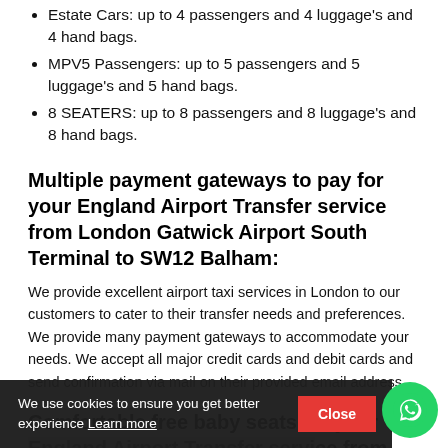Estate Cars: up to 4 passengers and 4 luggage's and 4 hand bags.
MPV5 Passengers: up to 5 passengers and 5 luggage's and 5 hand bags.
8 SEATERS: up to 8 passengers and 8 luggage's and 8 hand bags.
Multiple payment gateways to pay for your England Airport Transfer service from London Gatwick Airport South Terminal to SW12 Balham:
We provide excellent airport taxi services in London to our customers to cater to their transfer needs and preferences. We provide many payment gateways to accommodate your needs. We accept all major credit cards and debit cards and send confirmation via mail on their provided email address.
Comfortable free baby seats for your England Airport Transfer service from London Gatwick Airport South Terminal to
We use cookies to ensure you get better experience Learn more